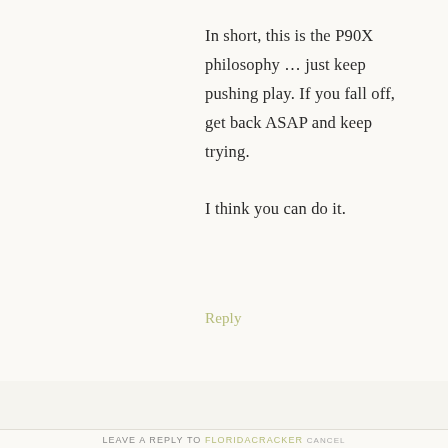In short, this is the P90X philosophy … just keep pushing play. If you fall off, get back ASAP and keep trying.

I think you can do it.
Reply
LEAVE A REPLY TO FLORIDACRACKER CANCEL REPLY